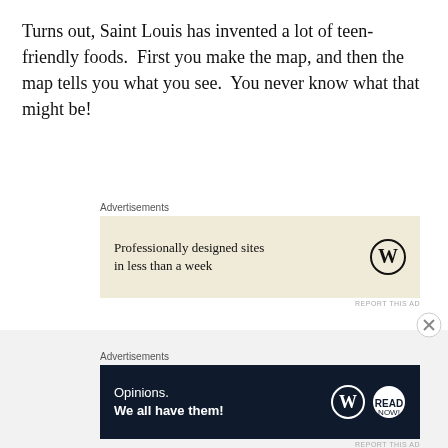Turns out, Saint Louis has invented a lot of teen-friendly foods.  First you make the map, and then the map tells you what you see.  You never know what that might be!
[Figure (other): WordPress advertisement banner with beige background: 'Professionally designed sites in less than a week' with WordPress logo]
♦
Here’s the story guide that goes along with the “Fly Away Home” map:
[Figure (other): WordPress advertisement banner with dark navy background: 'Opinions. We all have them!' with WordPress and book logos]